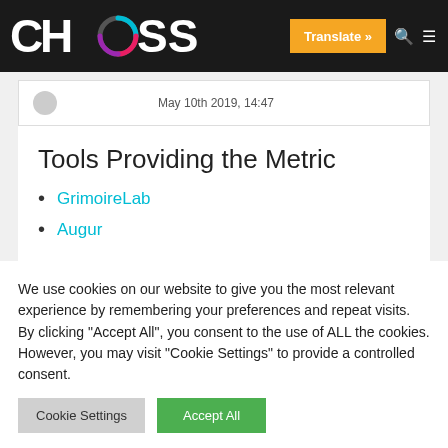CHAOSS — Translate »
May 10th 2019, 14:47
Tools Providing the Metric
GrimoireLab
Augur
We use cookies on our website to give you the most relevant experience by remembering your preferences and repeat visits. By clicking "Accept All", you consent to the use of ALL the cookies. However, you may visit "Cookie Settings" to provide a controlled consent.
Cookie Settings   Accept All